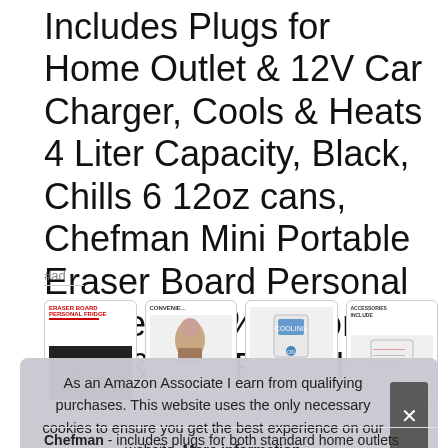Includes Plugs for Home Outlet & 12V Car Charger, Cools & Heats 4 Liter Capacity, Black, Chills 6 12oz cans, Chefman Mini Portable Eraser Board Personal Fridge, 100% Freon-Free & Eco Friendly
#ad
[Figure (screenshot): Row of four product thumbnail images showing the Chefman Mini Portable Eraser Board Personal Fridge from various angles and feature callouts]
As an Amazon Associate I earn from qualifying purchases. This website uses the only necessary cookies to ensure you get the best experience on our website. More information
Chefman - includes plugs for both standard home outlets